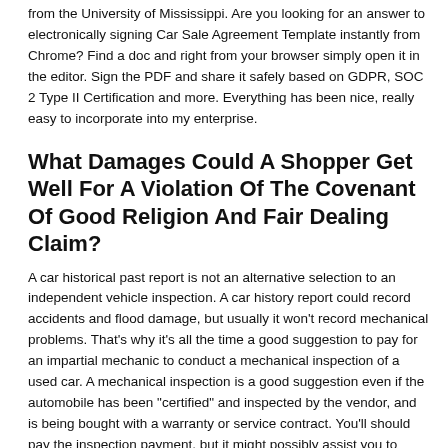from the University of Mississippi. Are you looking for an answer to electronically signing Car Sale Agreement Template instantly from Chrome? Find a doc and right from your browser simply open it in the editor. Sign the PDF and share it safely based on GDPR, SOC 2 Type II Certification and more. Everything has been nice, really easy to incorporate into my enterprise.
What Damages Could A Shopper Get Well For A Violation Of The Covenant Of Good Religion And Fair Dealing Claim?
A car historical past report is not an alternative selection to an independent vehicle inspection. A car history report could record accidents and flood damage, but usually it won't record mechanical problems. That's why it's all the time a good suggestion to pay for an impartial mechanic to conduct a mechanical inspection of a used car. A mechanical inspection is a good suggestion even if the automobile has been "certified" and inspected by the vendor, and is being bought with a warranty or service contract. You'll should pay the inspection payment, but it might possibly assist you to avoid paying for